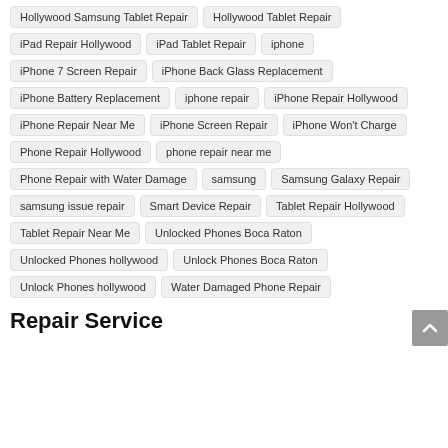Hollywood Samsung Tablet Repair
Hollywood Tablet Repair
iPad Repair Hollywood
iPad Tablet Repair
iphone
iPhone 7 Screen Repair
iPhone Back Glass Replacement
iPhone Battery Replacement
iphone repair
iPhone Repair Hollywood
iPhone Repair Near Me
iPhone Screen Repair
iPhone Won't Charge
Phone Repair Hollywood
phone repair near me
Phone Repair with Water Damage
samsung
Samsung Galaxy Repair
samsung issue repair
Smart Device Repair
Tablet Repair Hollywood
Tablet Repair Near Me
Unlocked Phones Boca Raton
Unlocked Phones hollywood
Unlock Phones Boca Raton
Unlock Phones hollywood
Water Damaged Phone Repair
Repair Service